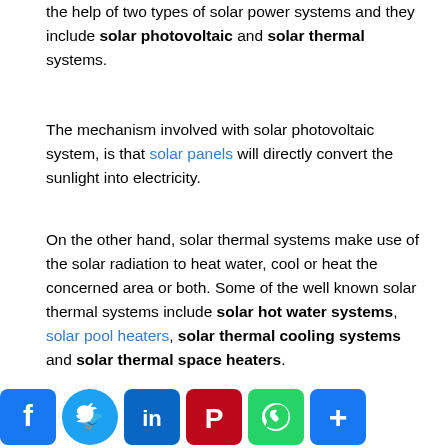the help of two types of solar power systems and they include solar photovoltaic and solar thermal systems.
The mechanism involved with solar photovoltaic system, is that solar panels will directly convert the sunlight into electricity.
On the other hand, solar thermal systems make use of the solar radiation to heat water, cool or heat the concerned area or both. Some of the well known solar thermal systems include solar hot water systems, solar pool heaters, solar thermal cooling systems and solar thermal space heaters.
[Figure (other): Social media sharing buttons: Facebook, Twitter, LinkedIn, Pinterest, WhatsApp, Share]